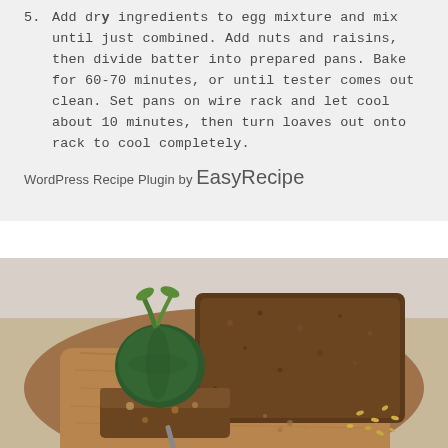5. Add dry ingredients to egg mixture and mix until just combined. Add nuts and raisins, then divide batter into prepared pans. Bake for 60-70 minutes, or until tester comes out clean. Set pans on wire rack and let cool about 10 minutes, then turn loaves out onto rack to cool completely.
WordPress Recipe Plugin by EasyRecipe
[Figure (photo): Photo of zucchini bread loaves on a wooden cutting board with a whole round zucchini, sliced bread pieces, and scattered seeds on a light surface.]